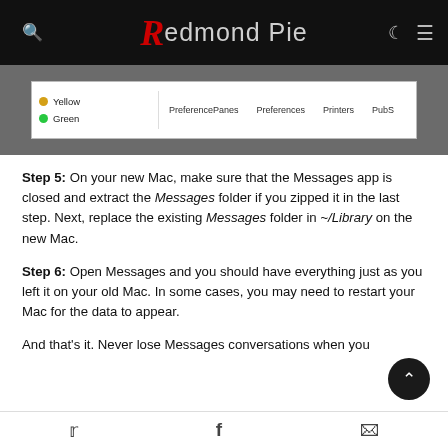Redmond Pie
[Figure (screenshot): macOS Finder window showing Yellow and Green items alongside columns labeled PreferencePanes, Preferences, Printers, PubS]
Step 5: On your new Mac, make sure that the Messages app is closed and extract the Messages folder if you zipped it in the last step. Next, replace the existing Messages folder in ~/Library on the new Mac.
Step 6: Open Messages and you should have everything just as you left it on your old Mac. In some cases, you may need to restart your Mac for the data to appear.
And that's it. Never lose Messages conversations when you
Twitter  Facebook  WhatsApp